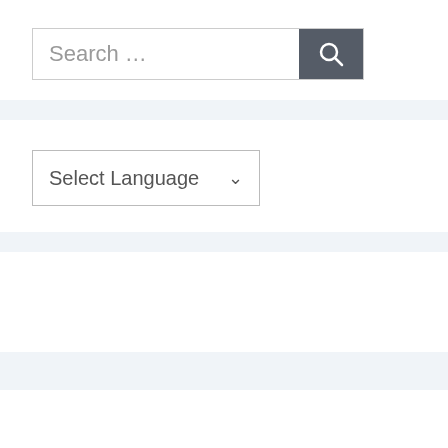[Figure (screenshot): Search bar with placeholder text 'Search ...' and a dark grey search button with magnifying glass icon]
[Figure (screenshot): Language selector dropdown with 'Select Language' text and chevron arrow]
[Figure (screenshot): Chevron down arrow at the bottom of the page]